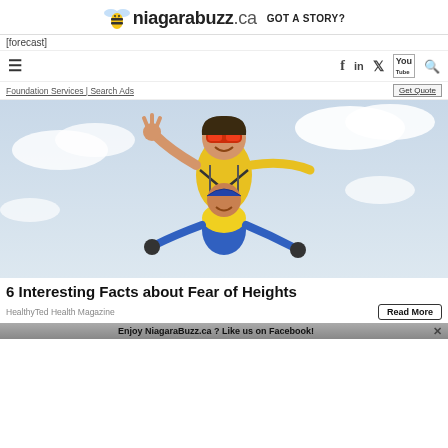niagarabuzz.ca  GOT A STORY?
[forecast]
≡  f  in  𝕏  You  🔍
Foundation Services | Search Ads   Get Quote
[Figure (photo): Two people tandem skydiving, both smiling. The front person (instructor) is making a peace sign and wearing red sunglasses and a yellow shirt. The second person is wearing a blue and yellow outfit. Sky background with clouds.]
6 Interesting Facts about Fear of Heights
HealthyTed Health Magazine    Read More
Enjoy NiagaraBuzz.ca ? Like us on Facebook!